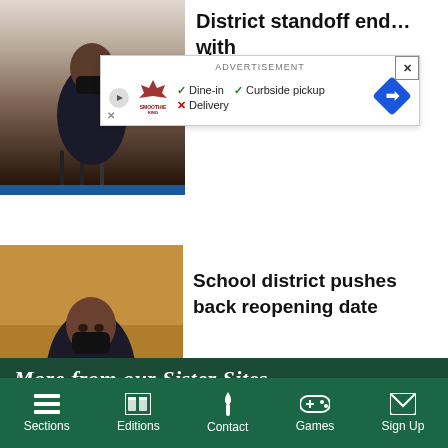[Figure (screenshot): Partial top image strip showing a news article header]
District standoff end… with
xt
[Figure (screenshot): Advertisement overlay showing Smoothie King with dine-in, curbside pickup options]
[Figure (photo): Man in black suit and black face mask at a press conference with microphones]
School district pushes back reopening date
More from our Sister Sites
[Figure (photo): Sports stadium crowd photo]
[Figure (photo): Blue-tinted sports photo]
Sections  Editions  Contact  Games  Sign Up